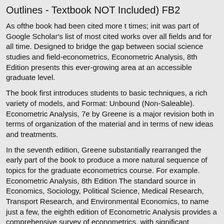Outlines - Textbook NOT Included) FB2
As ofthe book had been cited more t times; init was part of Google Scholar's list of most cited works over all fields and for all time. Designed to bridge the gap between social science studies and field-econometrics, Econometric Analysis, 8th Edition presents this ever-growing area at an accessible graduate level.
The book first introduces students to basic techniques, a rich variety of models, and Format: Unbound (Non-Saleable). Econometric Analysis, 7e by Greene is a major revision both in terms of organization of the material and in terms of new ideas and treatments.
In the seventh edition, Greene substantially rearranged the early part of the book to produce a more natural sequence of topics for the graduate econometrics course. For example. Econometric Analysis, 8th Edition The standard source in Economics, Sociology, Political Science, Medical Research, Transport Research, and Environmental Economics, to name just a few, the eighth edition of Econometric Analysis provides a comprehensive survey of econometrics, with significant pedagogical content that will continue to serve as a modern, up-to-date text and reference for future.